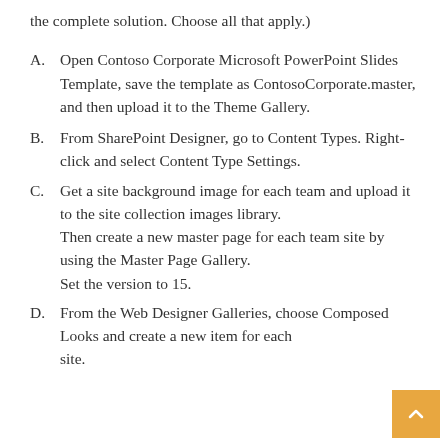the complete solution. Choose all that apply.)
A.    Open Contoso Corporate Microsoft PowerPoint Slides Template, save the template as ContosoCorporate.master, and then upload it to the Theme Gallery.
B.    From SharePoint Designer, go to Content Types. Right-click and select Content Type Settings.
C.    Get a site background image for each team and upload it to the site collection images library. Then create a new master page for each team site by using the Master Page Gallery.
Set the version to 15.
D.    From the Web Designer Galleries, choose Composed Looks and create a new item for each site.